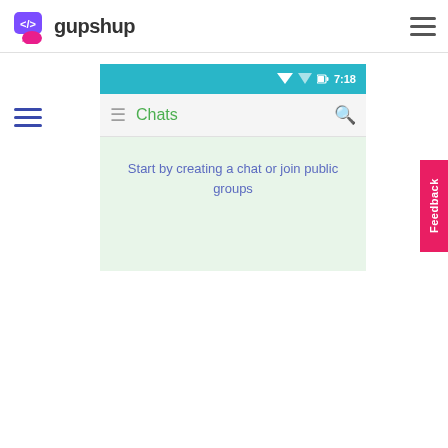[Figure (logo): Gupshup logo with purple chat/code icon and bold text 'gupshup']
[Figure (screenshot): Mobile app screenshot showing Gupshup Chats screen with status bar showing 7:18, a green Chats title, search icon, hamburger menu, and a mint-green content area with text 'Start by creating a chat or join public groups']
Start by creating a chat or join public groups
Feedback